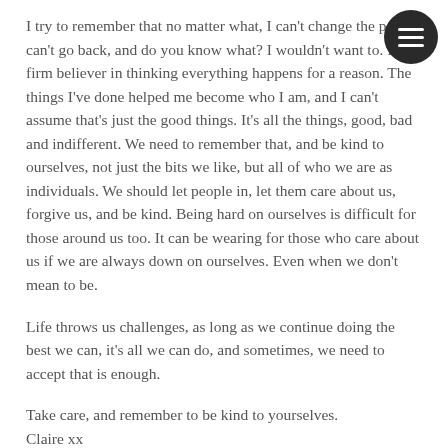I try to remember that no matter what, I can't change the past, I can't go back, and do you know what? I wouldn't want to. I'm a firm believer in thinking everything happens for a reason. The things I've done helped me become who I am, and I can't assume that's just the good things. It's all the things, good, bad and indifferent. We need to remember that, and be kind to ourselves, not just the bits we like, but all of who we are as individuals. We should let people in, let them care about us, forgive us, and be kind. Being hard on ourselves is difficult for those around us too. It can be wearing for those who care about us if we are always down on ourselves. Even when we don't mean to be.
Life throws us challenges, as long as we continue doing the best we can, it's all we can do, and sometimes, we need to accept that is enough.
Take care, and remember to be kind to yourselves.
Claire xx